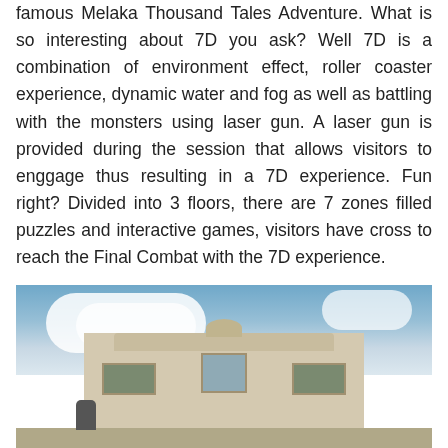famous Melaka Thousand Tales Adventure. What is so interesting about 7D you ask? Well 7D is a combination of environment effect, roller coaster experience, dynamic water and fog as well as battling with the monsters using laser gun. A laser gun is provided during the session that allows visitors to enggage thus resulting in a 7D experience. Fun right? Divided into 3 floors, there are 7 zones filled puzzles and interactive games, visitors have cross to reach the Final Combat with the 7D experience.
[Figure (photo): Exterior photo of a heritage building with ornate facade, viewed from below against a partly cloudy blue sky. The building appears to be a colonial-era structure in Melaka.]